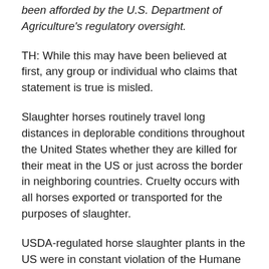been afforded by the U.S. Department of Agriculture's regulatory oversight.
TH: While this may have been believed at first, any group or individual who claims that statement is true is misled.
Slaughter horses routinely travel long distances in deplorable conditions throughout the United States whether they are killed for their meat in the US or just across the border in neighboring countries. Cruelty occurs with all horses exported or transported for the purposes of slaughter.
USDA-regulated horse slaughter plants in the US were in constant violation of the Humane Slaughter Act as was proved through numerous FOIA (Freedom of Information Act) documents collected by various horse and/or animal protection groups. Chief among these is a group called